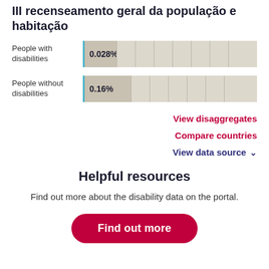III recenseamento geral da população e habitação
[Figure (bar-chart): People with/without disabilities]
View disaggregates
Compare countries
View data source ∨
Helpful resources
Find out more about the disability data on the portal.
Find out more